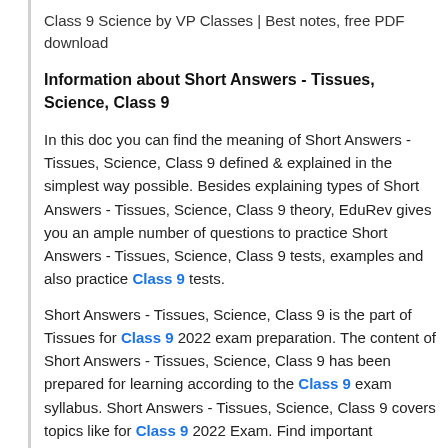Class 9 Science by VP Classes | Best notes, free PDF download
Information about Short Answers - Tissues, Science, Class 9
In this doc you can find the meaning of Short Answers - Tissues, Science, Class 9 defined & explained in the simplest way possible. Besides explaining types of Short Answers - Tissues, Science, Class 9 theory, EduRev gives you an ample number of questions to practice Short Answers - Tissues, Science, Class 9 tests, examples and also practice Class 9 tests.
Short Answers - Tissues, Science, Class 9 is the part of Tissues for Class 9 2022 exam preparation. The content of Short Answers - Tissues, Science, Class 9 has been prepared for learning according to the Class 9 exam syllabus. Short Answers - Tissues, Science, Class 9 covers topics like for Class 9 2022 Exam. Find important